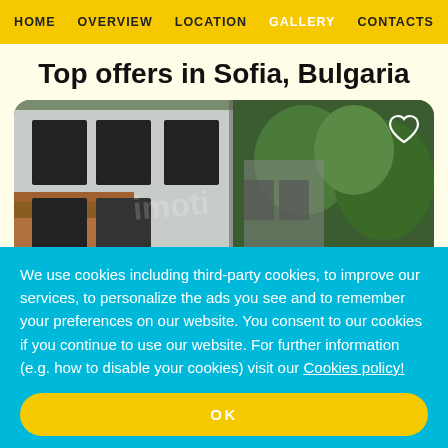HOME  OVERVIEW  LOCATION  GALLERY  CONTACTS
Top offers in Sofia, Bulgaria
[Figure (photo): Exterior photo of a modern residential building with brick and white facade, large black-framed windows, and greenery/trees in the background.]
We use cookies including third-party cookies, to improve our services, to personalize the ads you see and to remember your preferences on our website. You consent to our cookies if you continue to use our website. For further information (e.g. how to disable your cookies) visit our Cookies policy!
OK